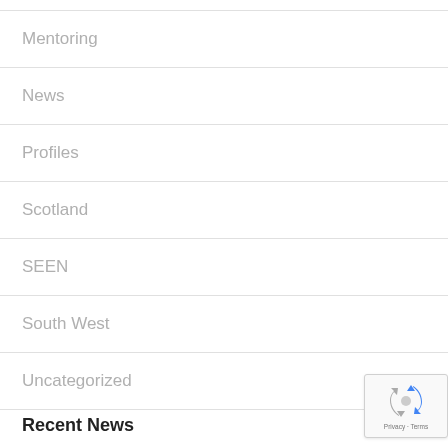Mentoring
News
Profiles
Scotland
SEEN
South West
Uncategorized
Recent News
[Figure (logo): reCAPTCHA badge with Privacy and Terms text]